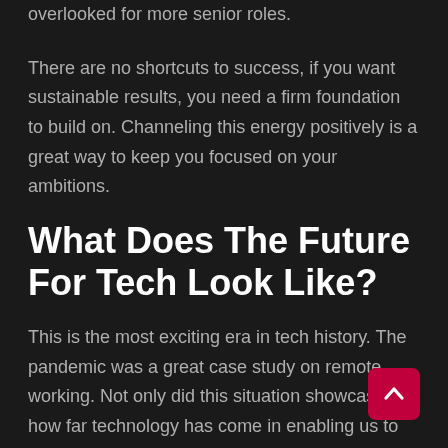overlooked for more senior roles.
There are no shortcuts to success, if you want sustainable results, you need a firm foundation to build on. Channeling this energy positively is a great way to keep you focused on your ambitions.
What Does The Future For Tech Look Like?
This is the most exciting era in tech history. The pandemic was a great case study on remote working. Not only did this situation showcase how far technology has come in enabling us to work from home, but it has also expanded our range of options.
Employers don't necessarily need to recruit in the area